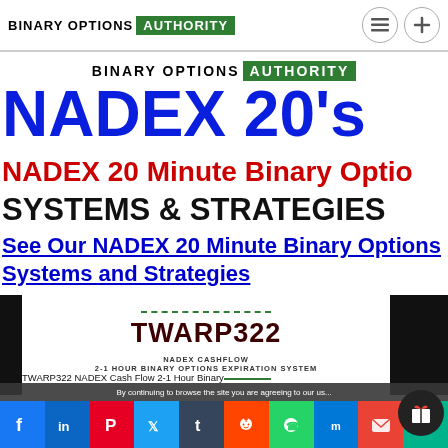BINARY OPTIONS AUTHORITY
[Figure (logo): Binary Options Authority logo with green authority badge, inside content area]
NADEX 20's
NADEX 20 Minute Binary Options
SYSTEMS & STRATEGIES
See Our NADEX 20 Minute Binary Options Systems and Strategies
[Figure (screenshot): TWARP322 NADEX Cashflow 2-1 Hour Binary Options Expiration System product thumbnail]
TWARP322 NADEX Cash Flow 2-1 Hour Binary
By continuing to browse the site you are agreeing to our us...
[Figure (infographic): Social media share bar with Facebook, LinkedIn, Pinterest, Twitter, Tumblr, Reddit, WhatsApp, Messenger, Email, Print icons]